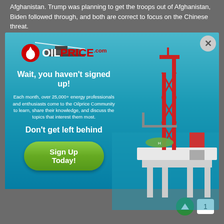Afghanistan. Trump was planning to get the troops out of Afghanistan, Biden followed through, and both are correct to focus on the Chinese threat.
[Figure (screenshot): OilPrice.com signup modal popup overlay on a webpage. Shows the OilPrice logo (red droplet icon with OIL in white and PRICE in red), headline 'Wait, you haven't signed up!', body text 'Each month, over 25,000+ energy professionals and enthusiasts come to the Oilprice Community to learn, share their knowledge, and discuss the topics that interest them most.', subheadline 'Don't get left behind', and a green 'Sign Up Today!' button. Background shows an ocean with an oil rig on the right and a ship at the top. A close (X) button is in the top-right corner.]
1